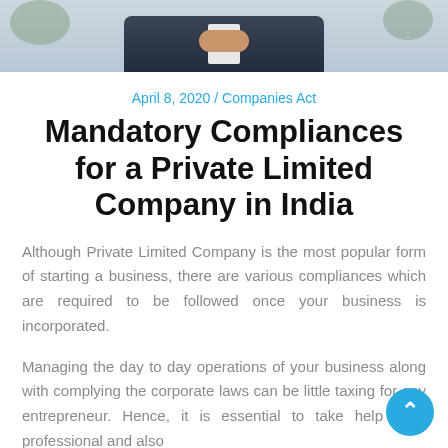[Figure (photo): Top portion of a photo showing a person in a dark suit, with hands clasped, against a light background with some greenery.]
April 8, 2020 / Companies Act
Mandatory Compliances for a Private Limited Company in India
Although Private Limited Company is the most popular form of starting a business, there are various compliances which are required to be followed once your business is incorporated.
Managing the day to day operations of your business along with complying the corporate laws can be little taxing for any entrepreneur. Hence, it is essential to take help of a professional and also